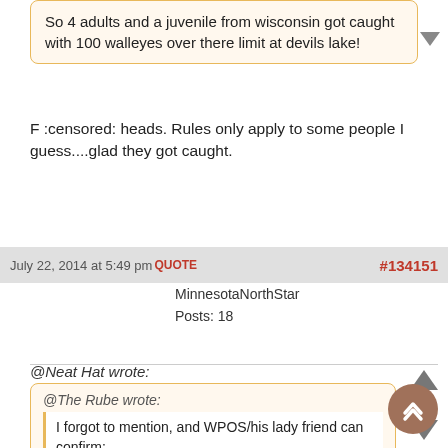So 4 adults and a juvenile from wisconsin got caught with 100 walleyes over there limit at devils lake!
F :censored: heads. Rules only apply to some people I guess....glad they got caught.
July 22, 2014 at 5:49 pm QUOTE #134151
MinnesotaNorthStar
Posts: 18
@Neat Hat wrote:
@The Rube wrote:
I forgot to mention, and WPOS/his lady friend can confirm:
This weekend, I saw a guy with a Packers logo tattoo....on his shaved head.
I told several people, when they brought it up to me, "no, that's